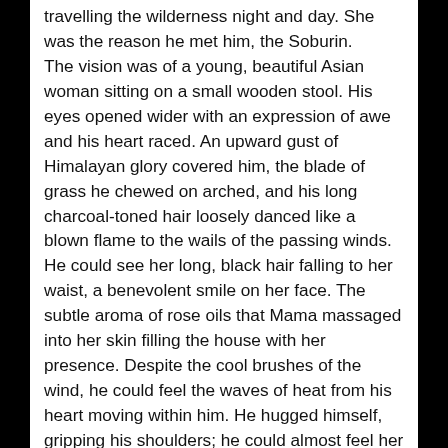travelling the wilderness night and day. She was the reason he met him, the Soburin. The vision was of a young, beautiful Asian woman sitting on a small wooden stool. His eyes opened wider with an expression of awe and his heart raced. An upward gust of Himalayan glory covered him, the blade of grass he chewed on arched, and his long charcoal-toned hair loosely danced like a blown flame to the wails of the passing winds. He could see her long, black hair falling to her waist, a benevolent smile on her face. The subtle aroma of rose oils that Mama massaged into her skin filling the house with her presence. Despite the cool brushes of the wind, he could feel the waves of heat from his heart moving within him. He hugged himself, gripping his shoulders; he could almost feel her gentle embrace. Johannan stretched his hands to the sky as if to touch the vision of her with the tip of his finger. My beloved Ayushi, you mean so much to me, and I have been